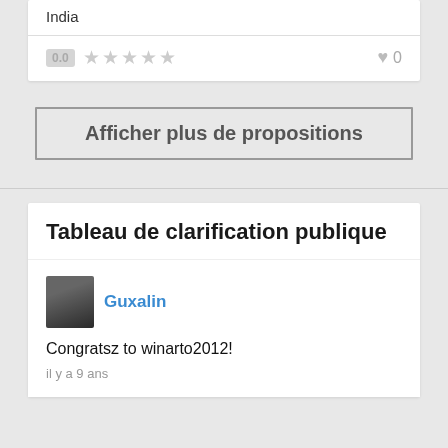India
0.0 ★★★★★ ♥ 0
Afficher plus de propositions
Tableau de clarification publique
Guxalin
Congratsz to winarto2012!
il y a 9 ans